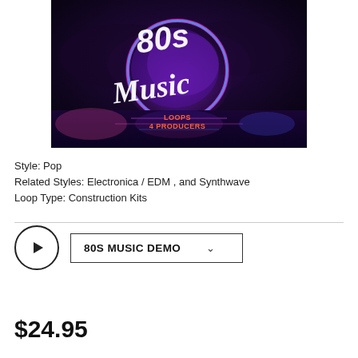[Figure (illustration): Album cover art for '80s Music Loops 4 Producers'. Dark night scene with purple/pink neon circle, stylized text '80s Music' in white script, and 'LOOPS 4 PRODUCERS' in orange text at the bottom. Synthwave aesthetic with dark clouds and reflective water.]
Style: Pop
Related Styles: Electronica / EDM , and Synthwave
Loop Type: Construction Kits
[Figure (other): Audio player UI with circular play button and dropdown selector labeled '80S MUSIC DEMO' with chevron]
$24.95